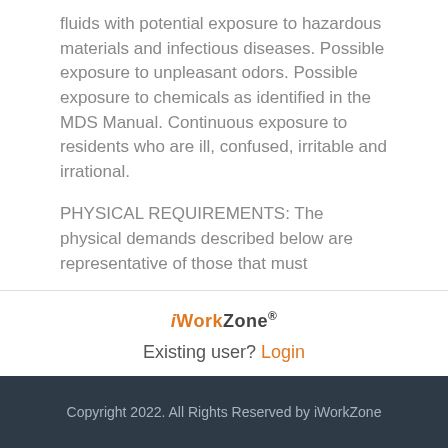fluids with potential exposure to hazardous materials and infectious diseases. Possible exposure to unpleasant odors. Possible exposure to chemicals as identified in the MDS Manual. Continuous exposure to residents who are ill, confused, irritable and irrational.
PHYSICAL REQUIREMENTS: The physical demands described below are representative of those that must
iWorkZone®
Existing user? Login
Location: Houston, Texas
Posted Date: Jan 17th, 2022
Copyright 2022. All Rights Reserved by iWorkZone